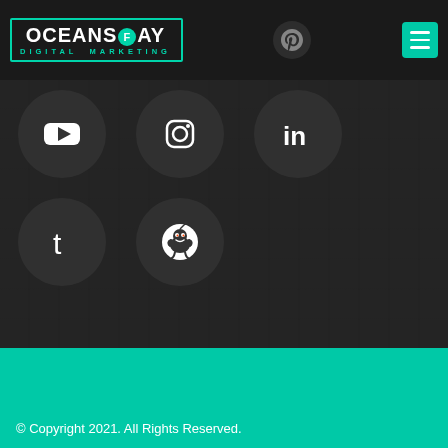[Figure (logo): Oceans Fay Digital Marketing logo with teal bracket border and circular F icon]
[Figure (infographic): Social media icons grid: YouTube, Instagram, LinkedIn (top row), Tumblr, Reddit (bottom row) — dark circular buttons on dark keyboard-textured background]
© Copyright 2021. All Rights Reserved.